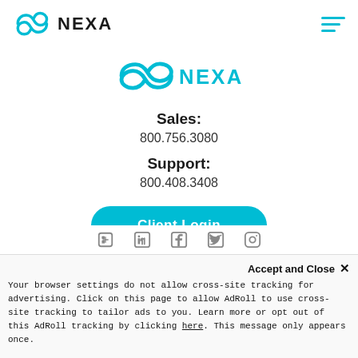NEXA
[Figure (logo): NEXA logo with teal wave/infinity symbol and bold NEXA text, centered on page]
Sales:
800.756.3080
Support:
800.408.3408
Client Login
Make A Payment
Accept and Close ✕
Your browser settings do not allow cross-site tracking for advertising. Click on this page to allow AdRoll to use cross-site tracking to tailor ads to you. Learn more or opt out of this AdRoll tracking by clicking here. This message only appears once.